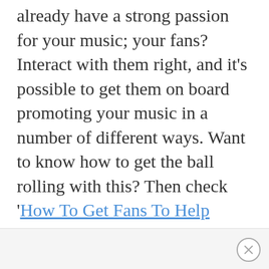already have a strong passion for your music; your fans? Interact with them right, and it's possible to get them on board promoting your music in a number of different ways. Want to know how to get the ball rolling with this? Then check 'How To Get Fans To Help Promote Your Music Career'. If you're not getting your fans to help you market, you're missing out on a big opportunity...
[close button]